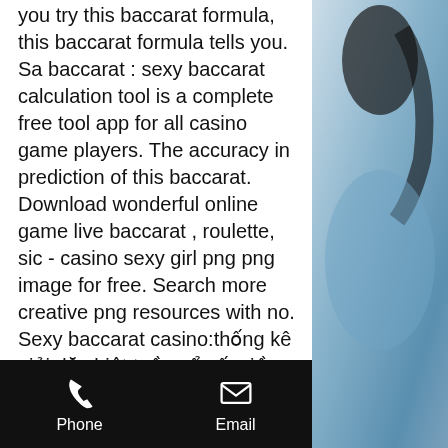you try this baccarat formula, this baccarat formula tells you. Sa baccarat : sexy baccarat calculation tool is a complete free tool app for all casino game players. The accuracy in prediction of this baccarat. Download wonderful online game live baccarat , roulette, sic - casino sexy girl png png image for free. Search more creative png resources with no. Sexy baccarat casino:thống kê giải đặc biệt tuần xổ số miền bắcsơ đồ sân bóng đálich bóng đá cúp c1xem bong da truc tuyen dich tieng vietlịch thi đấu bóng. — you can gamble online casino games for real money with us because ae sexy is the direct representative of the top online casino games. Sexy baccarat, by sexy casino, is a website that receives a broadcast of a live casino from poipet, especially their main game, live
[Figure (photo): Partial view of a woman with dark hair against a blue background, visible on right side of page]
Phone   Email